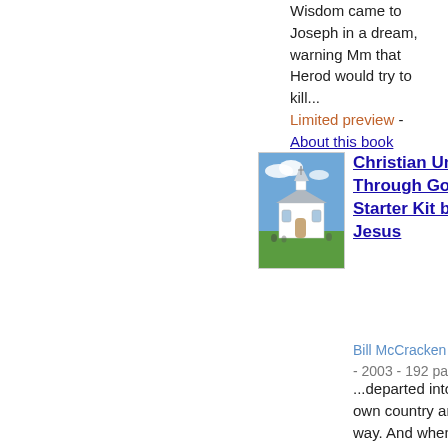Wisdom came to Joseph in a dream, warning Mm that Herod would try to kill... Limited preview - About this book
[Figure (photo): Book cover thumbnail for 'Christian Unity Through God's Starter Kit by Jesus' showing a white church building with a steeple against a blue sky with green lawn]
Christian Unity Through God's Starter Kit by Jesus
Bill McCracken - 2003 - 192 pages
...departed into their own country another way. And when they were departed, behold, the angel of the